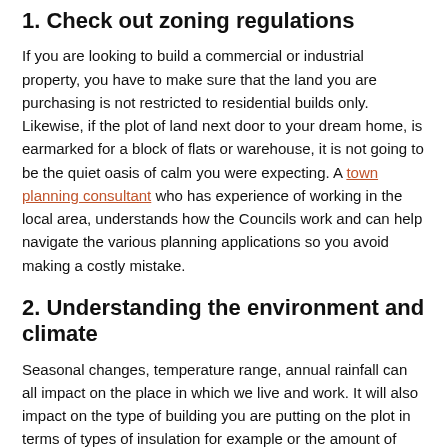1. Check out zoning regulations
If you are looking to build a commercial or industrial property, you have to make sure that the land you are purchasing is not restricted to residential builds only. Likewise, if the plot of land next door to your dream home, is earmarked for a block of flats or warehouse, it is not going to be the quiet oasis of calm you were expecting. A town planning consultant who has experience of working in the local area, understands how the Councils work and can help navigate the various planning applications so you avoid making a costly mistake.
2. Understanding the environment and climate
Seasonal changes, temperature range, annual rainfall can all impact on the place in which we live and work. It will also impact on the type of building you are putting on the plot in terms of types of insulation for example or the amount of energy you will need to use and the sort of vegetation and landscaping you can plant and grow. Understanding the local environment will assist